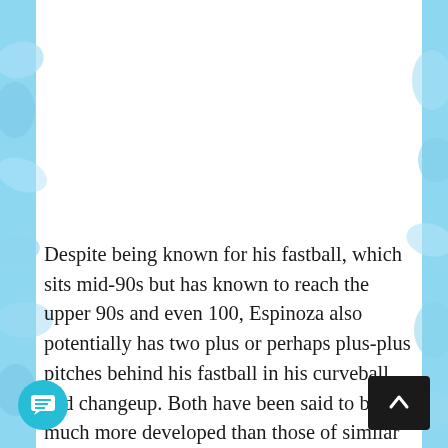[Figure (illustration): Blue watercolor/splash decorative background on left and right edges with white central area at top]
Despite being known for his fastball, which sits mid-90s but has known to reach the upper 90s and even 100, Espinoza also potentially has two plus or perhaps plus-plus pitches behind his fastball in his curveball and changeup. Both have been said to be much more developed than those of similar players of his age. Beyond that, Espinoza has some tro[uble wi]th control, but a solid, repeatable delivery a[nd] strong mechanics make him very advanced for his
4